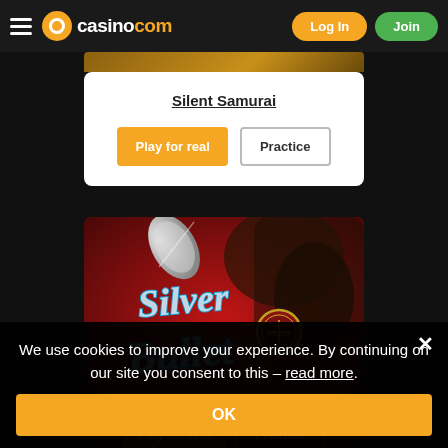casino.com — Log In | Join
Silent Samurai
Play for real | Practice
[Figure (screenshot): Silver Bullet slot game logo on red background with a silver bullet graphic]
Play for real | Practice
We use cookies to improve your experience. By continuing on our site you consent to this – read more.
OK